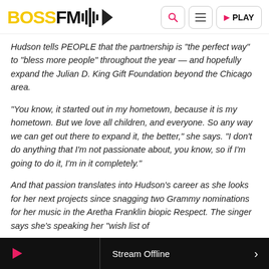BOSSFM [logo with waveform icon] | Search | Menu | PLAY
Hudson tells PEOPLE that the partnership is “the perfect way” to “bless more people” throughout the year — and hopefully expand the Julian D. King Gift Foundation beyond the Chicago area.
“You know, it started out in my hometown, because it is my hometown. But we love all children, and everyone. So any way we can get out there to expand it, the better,” she says. “I don’t do anything that I’m not passionate about, you know, so if I’m going to do it, I’m in it completely.”
And that passion translates into Hudson’s career as she looks for her next projects since snagging two Grammy nominations for her music in the Aretha Franklin biopic Respect. The singer says she’s speaking her “wish list of
Stream Offline